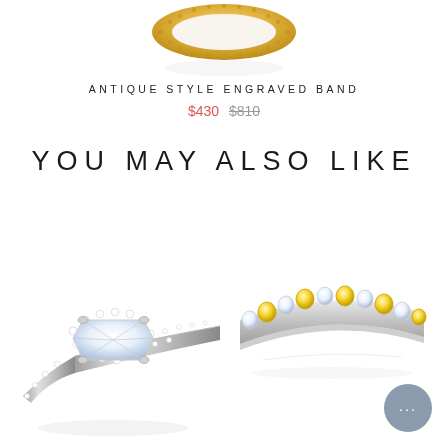[Figure (photo): Top portion of a gold antique style engraved band ring on white background]
ANTIQUE STYLE ENGRAVED BAND
$430  $810 (strikethrough)
YOU MAY ALSO LIKE
[Figure (photo): Diamond halo solitaire engagement ring with pave band in white gold/platinum]
[Figure (photo): Yellow and white diamond alternating eternity band in white gold/platinum]